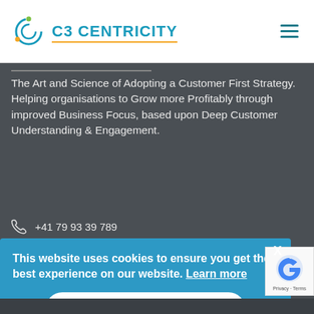[Figure (logo): C3 Centricity logo with circular icon and teal text, orange underline]
The Art and Science of Adopting a Customer First Strategy. Helping organisations to Grow more Profitably through improved Business Focus, based upon Deep Customer Understanding & Engagement.
+41 79 93 39 789
info@c3centricity.com
danysach...
This website uses cookies to ensure you get the best experience on our website. Learn more
Got it